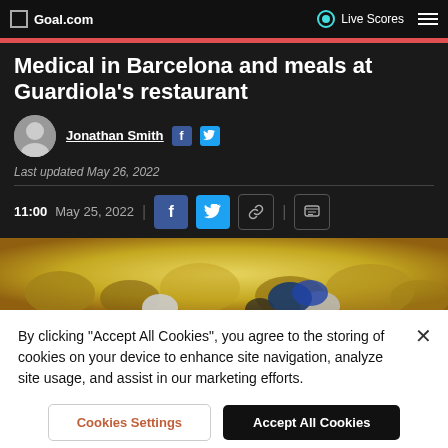Goal.com  Live Scores
Medical in Barcelona and meals at Guardiola's restaurant
Jonathan Smith
Last updated May 26, 2022
11:00 May 25, 2022
[Figure (photo): Crowd photo background image]
By clicking "Accept All Cookies", you agree to the storing of cookies on your device to enhance site navigation, analyze site usage, and assist in our marketing efforts.
Cookies Settings  Accept All Cookies